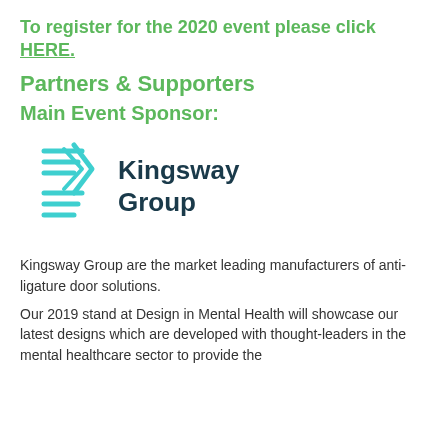To register for the 2020 event please click HERE.
Partners & Supporters
Main Event Sponsor:
[Figure (logo): Kingsway Group logo with teal geometric lines icon and dark teal text reading 'Kingsway Group']
Kingsway Group are the market leading manufacturers of anti-ligature door solutions.
Our 2019 stand at Design in Mental Health will showcase our latest designs which are developed with thought-leaders in the mental healthcare sector to provide the